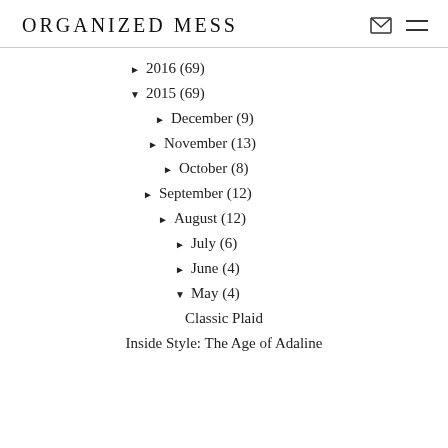ORGANIZED MESS
► 2016 (69)
▼ 2015 (69)
► December (9)
► November (13)
► October (8)
► September (12)
► August (12)
► July (6)
► June (4)
▼ May (4)
Classic Plaid
Inside Style: The Age of Adaline